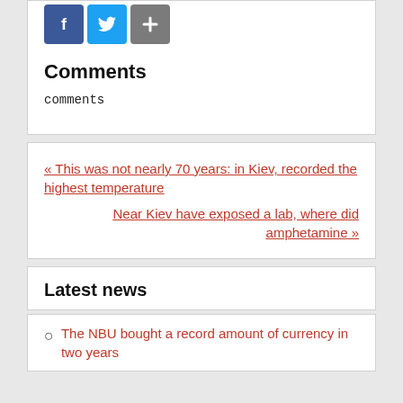[Figure (other): Social sharing icons: Facebook (blue), Twitter (blue bird), Share (grey plus)]
Comments
comments
« This was not nearly 70 years: in Kiev, recorded the highest temperature
Near Kiev have exposed a lab, where did amphetamine »
Latest news
The NBU bought a record amount of currency in two years